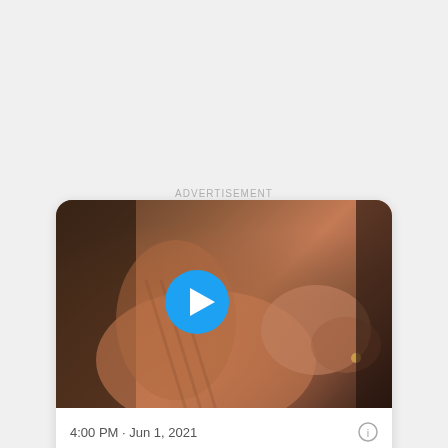ADVERTISEMENT
[Figure (screenshot): Video thumbnail showing a man in a striped shirt reaching toward camera with a play button overlay. A blue circular play button is centered on the thumbnail.]
4:00 PM · Jun 1, 2021
3.7K  Reply  Copy link
Read 195 replies